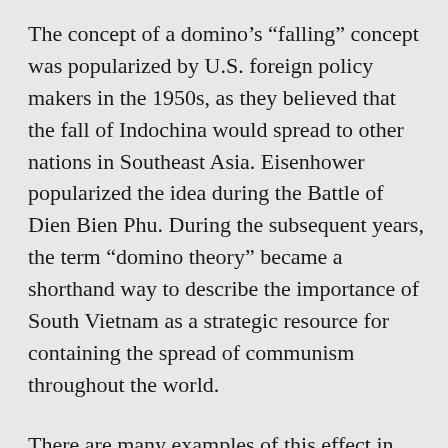The concept of a domino’s “falling” concept was popularized by U.S. foreign policy makers in the 1950s, as they believed that the fall of Indochina would spread to other nations in Southeast Asia. Eisenhower popularized the idea during the Battle of Dien Bien Phu. During the subsequent years, the term “domino theory” became a shorthand way to describe the importance of South Vietnam as a strategic resource for containing the spread of communism throughout the world.
There are many examples of this effect in real life. One example is when a single act has a knock-on effect. For example, if a row of dominoes falls, the effect will continue. It is